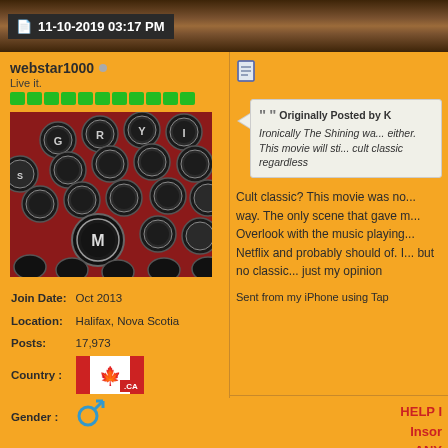11-10-2019 03:17 PM
webstar1000
Live it.
[Figure (photo): Close-up photo of a red vintage typewriter keyboard with circular keys, letters visible including G, R, Y, I, M]
| Join Date: | Oct 2013 |
| Location: | Halifax, Nova Scotia |
| Posts: | 17,973 |
| Country : | CA flag |
| Gender : | male symbol |
[Figure (illustration): Document/post icon]
Originally Posted by K
Ironically The Shining wa... either. This movie will sti... cult classic regardless
Cult classic? This movie was no... way. The only scene that gave m... Overlook with the music playing... Netflix and probably should of. I... but no classic... just my opinion
Sent from my iPhone using Tap
HELP I
Inson
ANY